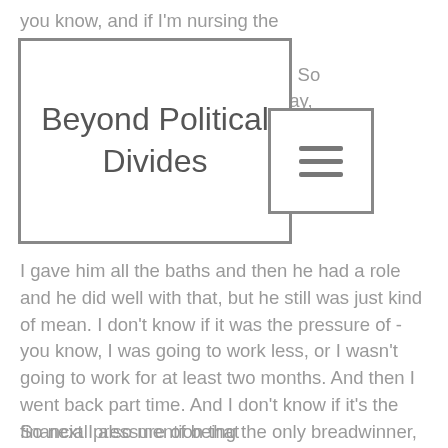you know, and if I'm nursing the have a role in ha d. So l Okay, in charge of the baths, 'cause I didn't really like those anyway.
Beyond Political Divides
[Figure (other): Hamburger menu icon — three horizontal lines in a bordered box]
I gave him all the baths and then he had a role and he did well with that, but he still was just kind of mean. I don't know if it was the pressure of - you know, I was going to work less, or I wasn't going to work for at least two months. And then I went back part time. And I don't know if it's the financial pressure of being the only breadwinner, or just this left out thing, but he got like really kind of mean.
So next I also mention that